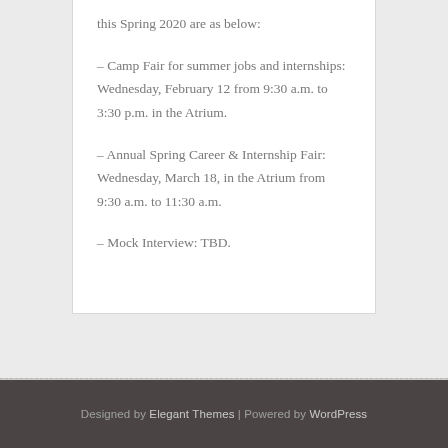this Spring 2020 are as below:
– Camp Fair for summer jobs and internships: Wednesday, February 12 from 9:30 a.m. to 3:30 p.m. in the Atrium.
– Annual Spring Career & Internship Fair: Wednesday, March 18, in the Atrium from 9:30 a.m. to 11:30 a.m.
– Mock Interview: TBD.
Designed by Elegant Themes | Powered by WordPress